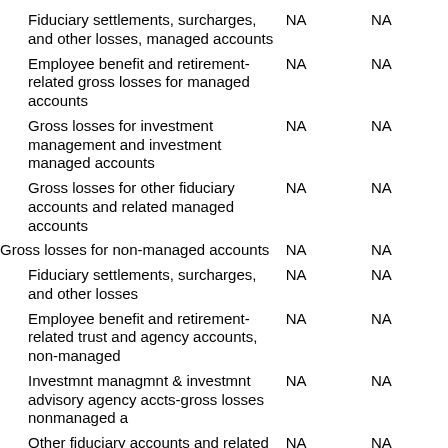| Description | Col1 | Col2 |
| --- | --- | --- |
| Fiduciary settlements, surcharges, and other losses, managed accounts | NA | NA |
| Employee benefit and retirement-related gross losses for managed accounts | NA | NA |
| Gross losses for investment management and investment managed accounts | NA | NA |
| Gross losses for other fiduciary accounts and related managed accounts | NA | NA |
| Gross losses for non-managed accounts | NA | NA |
| Fiduciary settlements, surcharges, and other losses | NA | NA |
| Employee benefit and retirement-related trust and agency accounts, non-managed | NA | NA |
| Investmnt managmnt & investmnt advisory agency accts-gross losses nonmanaged a | NA | NA |
| Other fiduciary accounts and related services-gross losses nonmanaged asts | NA | NA |